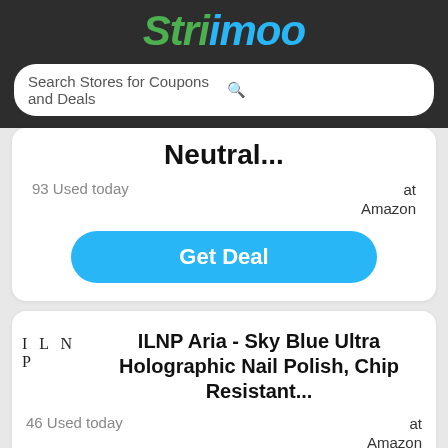Strimoo
Search Stores for Coupons and Deals
Neutral...
93 Used today
at Amazon
Get Deal
[Figure (logo): ILNP brand logo text]
ILNP Aria - Sky Blue Ultra Holographic Nail Polish, Chip Resistant...
46 Used today
at Amazon
Get Deal